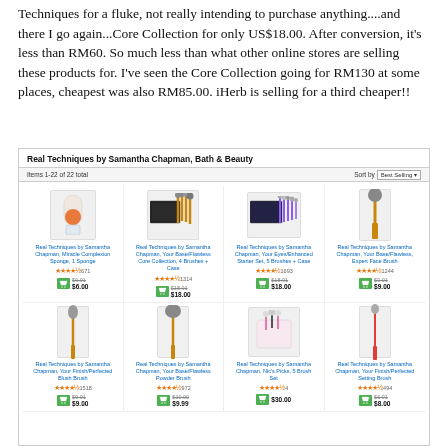Techniques for a fluke, not really intending to purchase anything....and there I go again...Core Collection for only US$18.00. After conversion, it's less than RM60. So much less than what other online stores are selling these products for. I've seen the Core Collection going for RM130 at some places, cheapest was also RM85.00. iHerb is selling for a third cheaper!!
[Figure (screenshot): Screenshot of iHerb product listing page showing Real Techniques by Samantha Chapman, Bath & Beauty products. Shows items 1-22 of 22 total, sorted by Best Selling. Products include: Miracle Complexion Sponge $6.00, Core Collection 4 Brushes+Case $18.00, Your Eyes Enhanced Starter Set $18.00, Expert Face Brush $9.00, Blush Brush $9.00, Powder Brush $9.99, Nic's Picks 5 Brush Set $30.00, Setting Brush $8.00.]